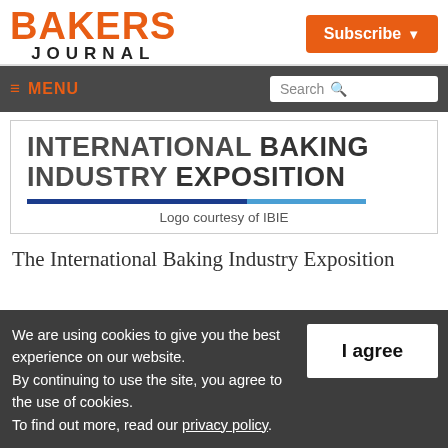BAKERS JOURNAL
[Figure (logo): Bakers Journal logo with orange BAKERS text and dark JOURNAL text below]
[Figure (illustration): Orange Subscribe button with dropdown arrow]
≡ MENU
[Figure (illustration): International Baking Industry Exposition logo with blue underline]
Logo courtesy of IBIE
The International Baking Industry Exposition
We are using cookies to give you the best experience on our website. By continuing to use the site, you agree to the use of cookies. To find out more, read our privacy policy.